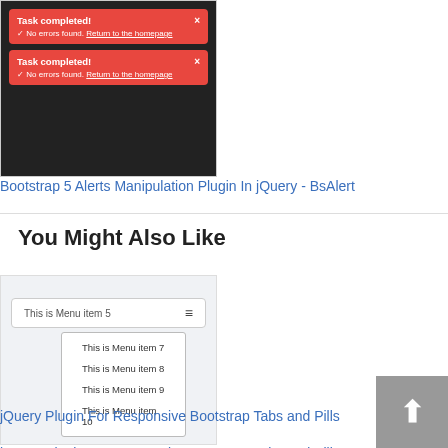[Figure (screenshot): Screenshot of Bootstrap alert boxes with red background, showing 'Task completed!' messages with close buttons and a 'Return to the homepage' link]
Bootstrap 5 Alerts Manipulation Plugin In jQuery - BsAlert
You Might Also Like
[Figure (screenshot): Screenshot of a dropdown menu component showing 'This is Menu item 5' in a bar with hamburger icon, and a dropdown with Menu items 7, 8, 9, 10]
jQuery Plugin For Responsive Bootstrap Tabs and Pills